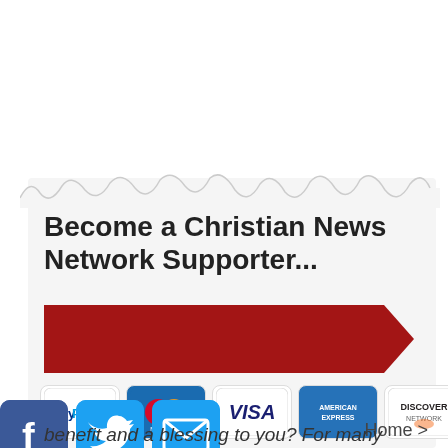Become a Christian News Network Supporter...
[Figure (other): Red ribbon/banner arrow shape used as a decorative call-to-action button]
[Figure (other): Payment method icons: PayPal, MasterCard, VISA, American Express, Discover Network]
[Figure (other): Social media icons: Facebook (blue), Twitter (blue), Email/envelope (blue)]
Home >
benefit and a blessing to you? For many years